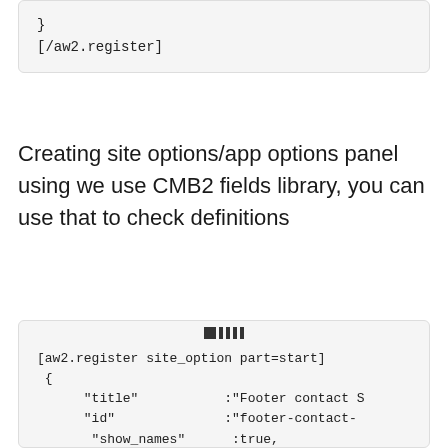}
[/aw2.register]
Creating site options/app options panel using we use CMB2 fields library, you can use that to check definitions
[aw2.register site_option part=start]
 {
      "title"           :"Footer contact S
      "id"               :"footer-contact-
       "show_names"       :true,
       "show_on"          :{ "key": "opti
 }
[/aw2.register]

[aw2.register site_option part=field]
 {
      "id"               :"opt-address"
      "type"             :"textarea"